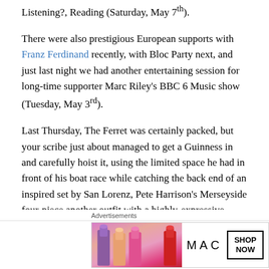Listening?, Reading (Saturday, May 7th).
There were also prestigious European supports with Franz Ferdinand recently, with Bloc Party next, and just last night we had another entertaining session for long-time supporter Marc Riley's BBC 6 Music show (Tuesday, May 3rd).
Last Thursday, The Ferret was certainly packed, but your scribe just about managed to get a Guinness in and carefully hoist it, using the limited space he had in front of his boat race while catching the back end of an inspired set by San Lorenz, Pete Harrison's Merseyside four-piece another outfit with a highly-expressive female drummer.
Advertisements
[Figure (other): MAC Cosmetics advertisement banner showing lipsticks in pink, peach and red with the MAC logo and a SHOP NOW button]